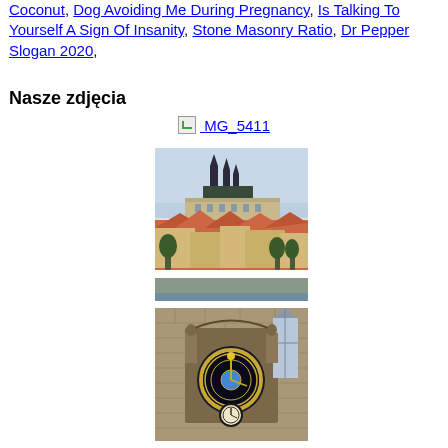Coconut, Dog Avoiding Me During Pregnancy, Is Talking To Yourself A Sign Of Insanity, Stone Masonry Ratio, Dr Pepper Slogan 2020,
Nasze zdjęcia
[Figure (other): Broken image link icon followed by hyperlink text: MG 5411]
[Figure (photo): Photograph of Prague castle and city skyline with Gothic spires, red rooftops, and trees in the foreground]
[Figure (photo): Photograph of the Prague Astronomical Clock (Orloj) on the Old Town Hall with ornate stone facade]